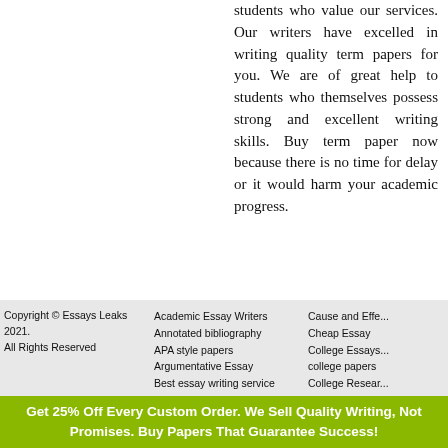students who value our services. Our writers have excelled in writing quality term papers for you. We are of great help to students who themselves possess strong and excellent writing skills. Buy term paper now because there is no time for delay or it would harm your academic progress.
Copyright © Essays Leaks 2021. All Rights Reserved
Academic Essay Writers
Annotated bibliography
APA style papers
Argumentative Essay
Best essay writing service
Best Term Paper Site
Business Reports
Buy Admission Essay
Cause and Effe...
Cheap Essay
College Essays...
college papers
College Resear...
Criminal Justic...
Custom Resear...
Do my essay...
Get 25% Off Every Custom Order. We Sell Quality Writing, Not Promises. Buy Papers That Guarantee Success!